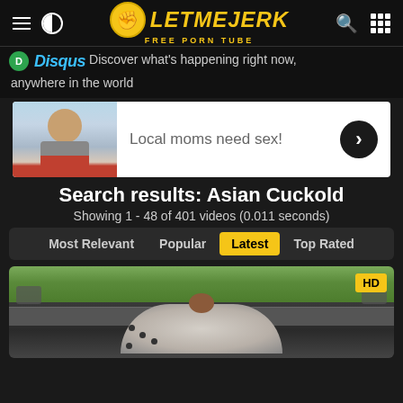LetMeJerk - Free Porn Tube
Disqus - Discover what's happening right now, anywhere in the world
[Figure (photo): Advertisement banner showing a woman with text 'Local moms need sex!' and a forward arrow button]
Search results: Asian Cuckold
Showing 1 - 48 of 401 videos (0.011 seconds)
Most Relevant
Popular
Latest
Top Rated
[Figure (photo): Video thumbnail showing HD badge, car interior scene]